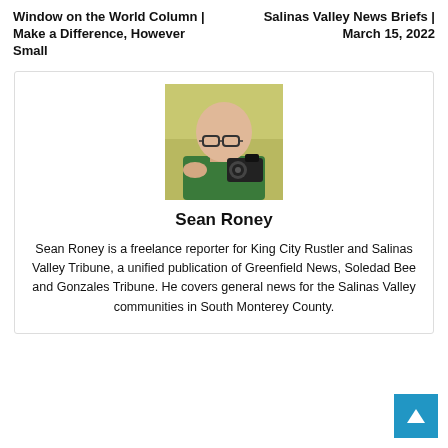Window on the World Column | Make a Difference, However Small
Salinas Valley News Briefs | March 15, 2022
[Figure (photo): Portrait photo of Sean Roney, a bald man with glasses holding a camera, wearing a green shirt, outdoors with green/yellow background]
Sean Roney
Sean Roney is a freelance reporter for King City Rustler and Salinas Valley Tribune, a unified publication of Greenfield News, Soledad Bee and Gonzales Tribune. He covers general news for the Salinas Valley communities in South Monterey County.